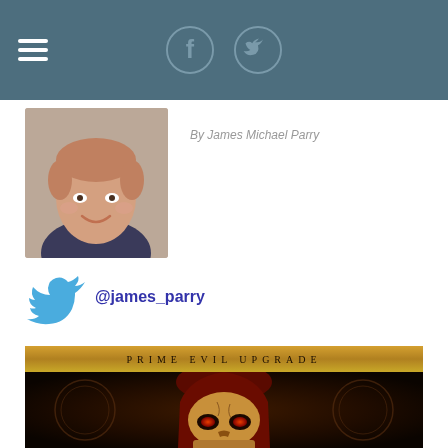Navigation header with hamburger menu and social icons (Facebook, Twitter)
By James Michael Parry
[Figure (photo): Headshot photo of a young man with red hair, smiling, wearing a dark patterned shirt]
[Figure (logo): Twitter bird logo icon in blue]
@james_parry
[Figure (photo): Diablo II Prime Evil Upgrade game promotional image showing a skull with glowing red eyes wearing a red hood, dark fantasy art style, with 'PRIME EVIL UPGRADE' text banner at top on gold background]